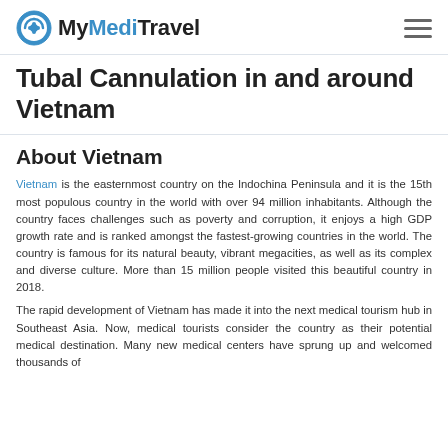MyMediTravel
Tubal Cannulation in and around Vietnam
About Vietnam
Vietnam is the easternmost country on the Indochina Peninsula and it is the 15th most populous country in the world with over 94 million inhabitants. Although the country faces challenges such as poverty and corruption, it enjoys a high GDP growth rate and is ranked amongst the fastest-growing countries in the world. The country is famous for its natural beauty, vibrant megacities, as well as its complex and diverse culture. More than 15 million people visited this beautiful country in 2018.
The rapid development of Vietnam has made it into the next medical tourism hub in Southeast Asia. Now, medical tourists consider the country as their potential medical destination. Many new medical centers have sprung up and welcomed thousands of